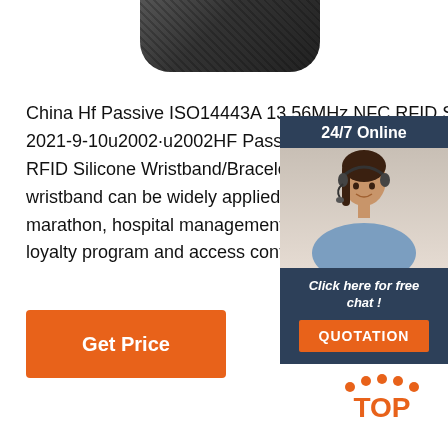[Figure (photo): Top portion of a dark RFID device/reader, partially cut off at the top of the page]
China Hf Passive ISO14443A 13.56MHz NFC RFID Silicone 2021-9-10u2002·u2002HF Passive ISO14443A 13.56MHz NFC RFID Silicone Wristband/Bracelet Tel: +86 1353001... wristband can be widely applied in swimming pool, t marathon, hospital management, membership mana loyalty program and access control management etc
[Figure (photo): 24/7 Online chat widget showing a woman with a headset, with 'Click here for free chat!' text and QUOTATION button]
Get Price
[Figure (logo): Orange TOP button with dots arranged in an arc above the letters TOP]